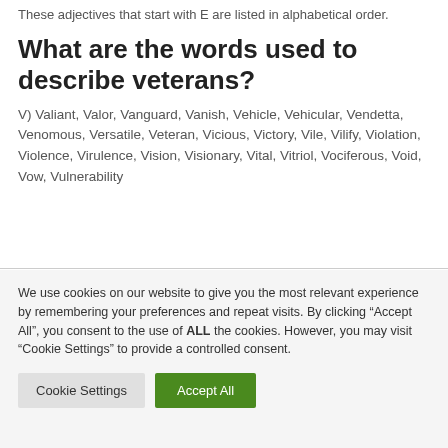These adjectives that start with E are listed in alphabetical order.
What are the words used to describe veterans?
V) Valiant, Valor, Vanguard, Vanish, Vehicle, Vehicular, Vendetta, Venomous, Versatile, Veteran, Vicious, Victory, Vile, Vilify, Violation, Violence, Virulence, Vision, Visionary, Vital, Vitriol, Vociferous, Void, Vow, Vulnerability
We use cookies on our website to give you the most relevant experience by remembering your preferences and repeat visits. By clicking "Accept All", you consent to the use of ALL the cookies. However, you may visit "Cookie Settings" to provide a controlled consent.